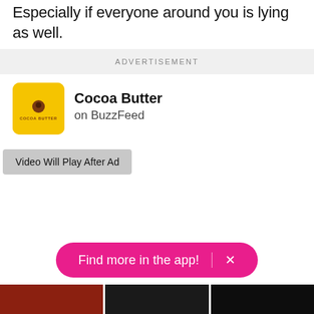Especially if everyone around you is lying as well.
ADVERTISEMENT
[Figure (logo): Cocoa Butter on BuzzFeed logo — yellow square with rounded corners, small brown cocoa butter icon in center, text 'COCOA BUTTER' in small letters]
Cocoa Butter
on BuzzFeed
Video Will Play After Ad
Find more in the app!